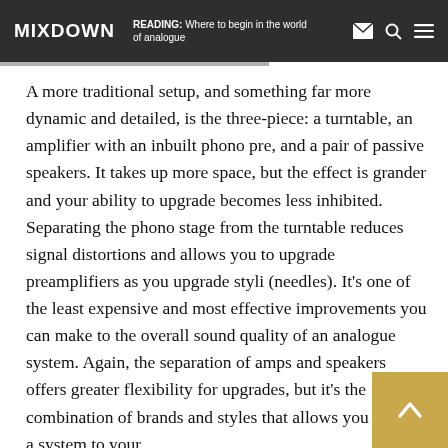MIXDOWN | READING: Where to begin in the world of analogue
A more traditional setup, and something far more dynamic and detailed, is the three-piece: a turntable, an amplifier with an inbuilt phono pre, and a pair of passive speakers. It takes up more space, but the effect is grander and your ability to upgrade becomes less inhibited. Separating the phono stage from the turntable reduces signal distortions and allows you to upgrade preamplifiers as you upgrade styli (needles). It’s one of the least expensive and most effective improvements you can make to the overall sound quality of an analogue system. Again, the separation of amps and speakers offers greater flexibility for upgrades, but it’s the combination of brands and styles that allows you to tailor a system to your